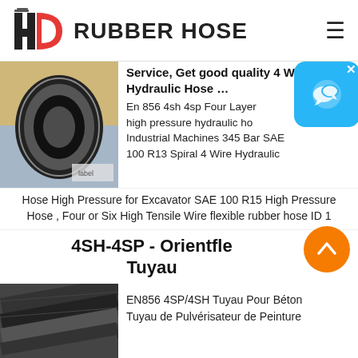[Figure (logo): HD Rubber Hose logo with red and black HD letter mark and hamburger menu icon]
[Figure (photo): Close-up photo of the end of a large black rubber hydraulic hose showing the oval cross-section interior]
Service, Get good quality 4 Wire Hydraulic Hose ...
En 856 4sh 4sp Four Layer high pressure hydraulic hose Industrial Machines 345 Bar SAE 100 R13 Spiral 4 Wire Hydraulic Hose High Pressure for Excavator SAE 100 R15 High Pressure Hose , Four or Six High Tensile Wire flexible rubber hose ID 1
4SH-4SP - Orientfle Tuyau
[Figure (photo): Photo of black rubber hoses bundled together showing their cylindrical surface]
EN856 4SP/4SH Tuyau Pour Béton Tuyau de Pulvérisateur de Peinture